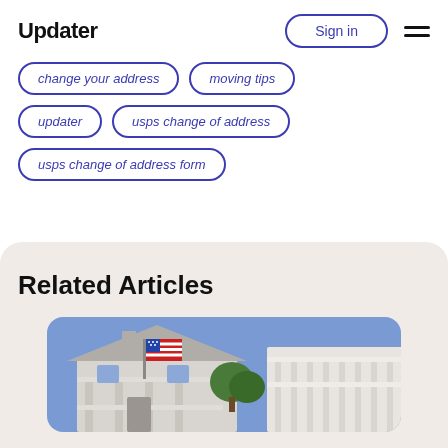Updater
Sign in
change your address
moving tips
updater
usps change of address
usps change of address form
Related Articles
[Figure (photo): Photo of a house with an American flag on the porch, white railing, blue sky background]